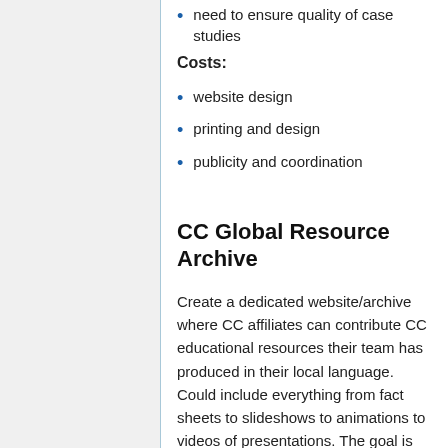need to ensure quality of case studies
Costs:
website design
printing and design
publicity and coordination
CC Global Resource Archive
Create a dedicated website/archive where CC affiliates can contribute CC educational resources their team has produced in their local language. Could include everything from fact sheets to slideshows to animations to videos of presentations. The goal is to to recognise the work being undertaken by affiliates while at the same time create collection of multi-lingual, international